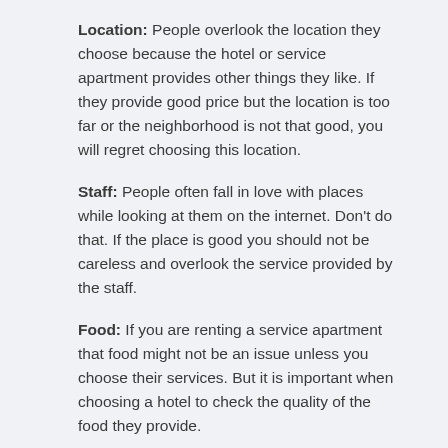Location: People overlook the location they choose because the hotel or service apartment provides other things they like. If they provide good price but the location is too far or the neighborhood is not that good, you will regret choosing this location.
Staff: People often fall in love with places while looking at them on the internet. Don't do that. If the place is good you should not be careless and overlook the service provided by the staff.
Food: If you are renting a service apartment that food might not be an issue unless you choose their services. But it is important when choosing a hotel to check the quality of the food they provide.
Power: In both hotel and service apartment it is important to see if they have backup during a power cut. You don't want to be sitting in the dark all night.
Water: Some of the places have water problems and